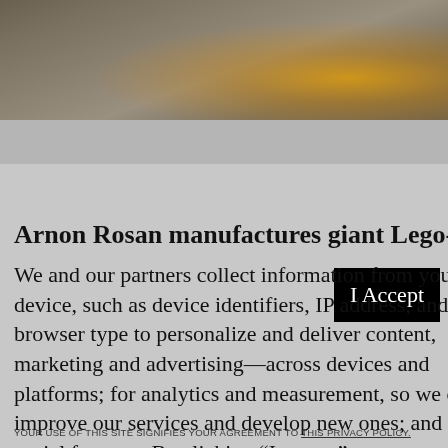[Figure (photo): Partial photograph showing a dimly lit concrete or stone floor with a bright warm yellowish-orange light source visible in the upper right area]
Arnon Rosan manufactures giant Lego-like building
We and our partners collect information from your device, such as device identifiers, IP address, and your browser type to personalize and deliver content, marketing and advertising—across devices and platforms; for analytics and measurement, so we can improve our services and develop new ones; and for social features. By clicking “I accept”, you consent to our use of these Cookies. Visit our Privacy Policy to learn more.
I Accept
YOUR USE OF THIS SITE SIGNIFIES YOUR AGREEMENT TO THIS PRIVACY POLICY.